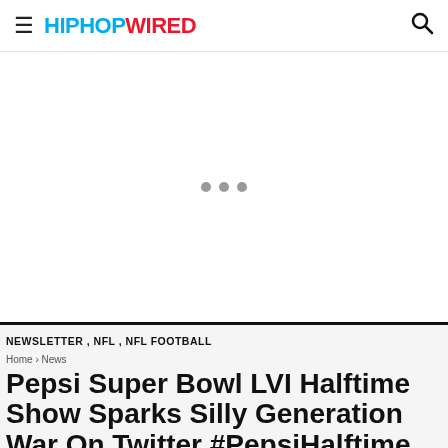HIPHOPWIRED
[Figure (other): Advertisement loading area with three grey dots]
NEWSLETTER , NFL , NFL FOOTBALL
Home › News
Pepsi Super Bowl LVI Halftime Show Sparks Silly Generation War On Twitter #PepsiHalftime